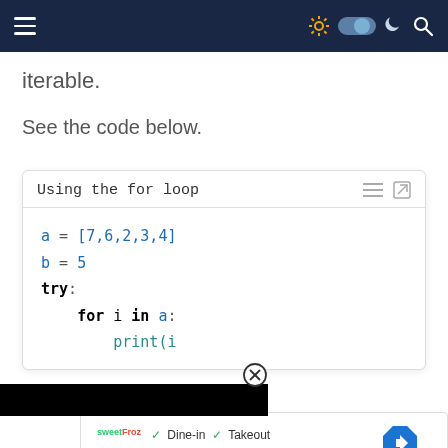Navigation bar with hamburger menu, theme toggle, and search icon
iterable.
See the code below.
[Figure (screenshot): Code block titled 'Using the for loop' showing Python code: a = [7,6,2,3,4], b = 5, try:, for i in a:, print(i) — with a black redaction bar and an X close button]
[Figure (screenshot): Advertisement overlay showing SweetFroz restaurant with Dine-in, Takeout, Delivery checkmarks and a blue directions arrow button]